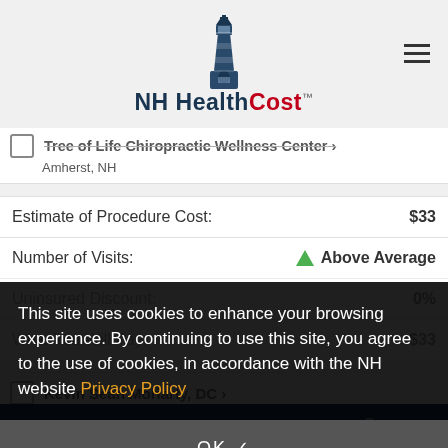[Figure (logo): NH HealthCost lighthouse logo with red and dark blue text]
Tree of Life Chiropractic Wellness Center >
Amherst, NH
| Estimate of Procedure Cost: | $33 |
| Number of Visits: | Above Average |
| Uninsured Discount: | 0% |
| What You Will Pay: | $33 |
Kevin Sean Moriarty, DC >
This site uses cookies to enhance your browsing experience. By continuing to use this site, you agree to the use of cookies, in accordance with the NH website Privacy Policy
OK ✓
COMPARE SELECTED   Search